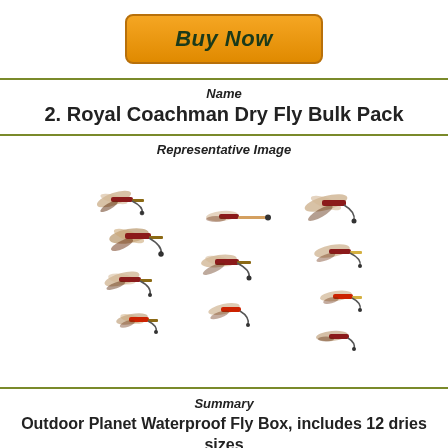[Figure (other): Orange 'Buy Now' button with bold italic dark green text on gradient orange background]
Name
2. Royal Coachman Dry Fly Bulk Pack
Representative Image
[Figure (photo): Photo of multiple Royal Coachman dry fly fishing lures arranged in three groups on a white background, showing red, brown, black and cream colored flies with feathered wings and hooks]
Summary
Outdoor Planet Waterproof Fly Box, includes 12 dries sizes